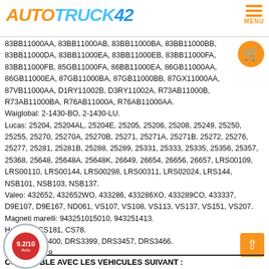AUTOTRUCK42
83BB11000AA, 83BB11000AB, 83BB11000BA, 83BB11000BB, 83BB11000DA, 83BB11000EA, 83BB11000EB, 83BB11000FA, 83BB11000FB, 85GB11000FA, 86BB11000EA, 86GB11000AA, 86GB11000EA, 87GB11000BA, 87GB11000BB, 87GX11000AA, 87VB11000AA, D1RY11002B, D3RY11002A, R73AB11000B, R73AB11000BA, R76AB11000A, R76AB11000AA.
Waiglobal: 2-1430-BO, 2-1430-LU.
Lucas: 25204, 25204AL, 25204E, 25205, 25206, 25208, 25249, 25250, 25255, 25270, 25270A, 25270B, 25271, 25271A, 25271B, 25272, 25276, 25277, 25281, 25281B, 25288, 25289, 25331, 25333, 25335, 25356, 25357, 25368, 25648, 25648A, 25648K, 26649, 26654, 26656, 26657, LRS00109, LRS00110, LRS00144, LRS00298, LRS00311, LRS02024, LRS144, NSB101, NSB103, NSB137.
Valeo: 432652, 432652WO, 433286, 433286XO, 433289CO, 433337, D9E107, D9E167, ND061, VS107, VS108, VS113, VS137, VS151, VS207.
Magneti marelli: 943251015010, 943251413.
Hc-Parts: CS181, CS78.
Delco: DRS0400, DRS3399, DRS3457, DRS3466.
Krauf: TF0078.
COMPATIBLE AVEC LES VEHICULES SUIVANT :